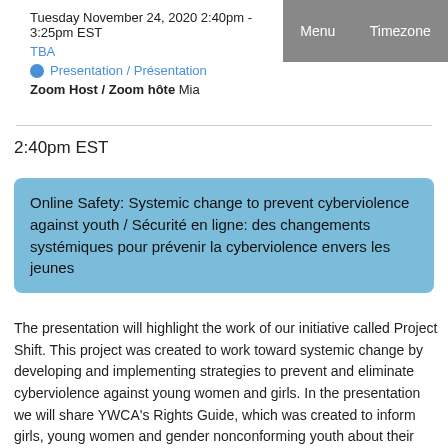Menu   Timezone
Tuesday November 24, 2020 2:40pm - 3:25pm EST
TBA
Presentation / Présentation
Zoom Host / Zoom hôte Mia
2:40pm EST
Online Safety: Systemic change to prevent cyberviolence against youth / Sécurité en ligne: des changements systémiques pour prévenir la cyberviolence envers les jeunes
The presentation will highlight the work of our initiative called Project Shift. This project was created to work toward systemic change by developing and implementing strategies to prevent and eliminate cyberviolence against young women and girls. In the presentation we will share YWCA's Rights Guide, which was created to inform girls, young women and gender nonconforming youth about their